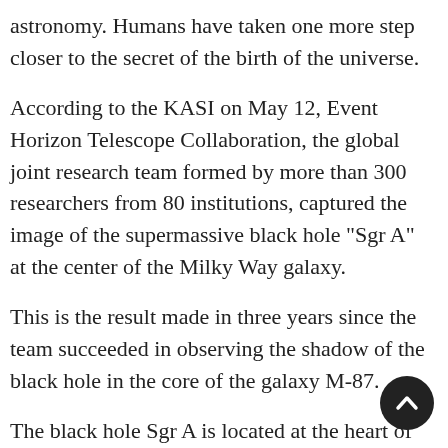astronomy. Humans have taken one more step closer to the secret of the birth of the universe.
According to the KASI on May 12, Event Horizon Telescope Collaboration, the global joint research team formed by more than 300 researchers from 80 institutions, captured the image of the supermassive black hole "Sgr A" at the center of the Milky Way galaxy.
This is the result made in three years since the team succeeded in observing the shadow of the black hole in the core of the galaxy M-87.
The black hole Sgr A is located at the heart of the Milky Way galaxy, 27,000 light years from Earth. It is roug million times the mass of the sun.